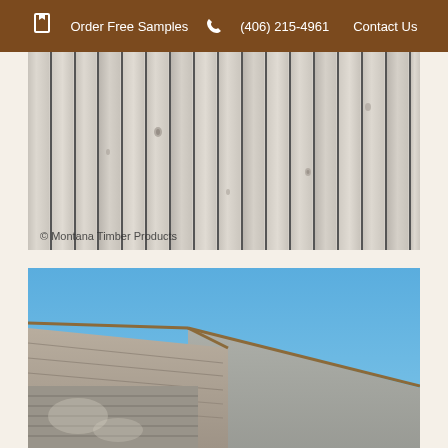Order Free Samples  (406) 215-4961  Contact Us
[Figure (photo): Close-up photo of vertical wood plank siding in light gray/whitewashed tone with visible knots and shadows between planks. Copyright watermark reads '© Montana Timber Products'.]
[Figure (photo): Upward-looking photo of a building roof peak with natural wood soffit/trim and horizontal wood siding below, set against a bright blue sky. The roofline forms an inverted V shape.]